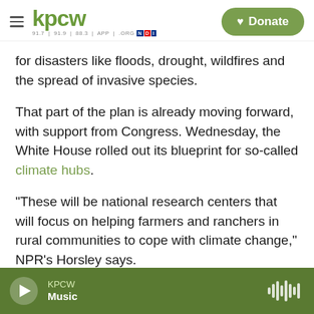KPCW — Donate
for disasters like floods, drought, wildfires and the spread of invasive species.
That part of the plan is already moving forward, with support from Congress. Wednesday, the White House rolled out its blueprint for so-called climate hubs.
"These will be national research centers that will focus on helping farmers and ranchers in rural communities to cope with climate change," NPR's Horsley says.
Dixson, Greensburg's mayor, is one of the local
KPCW Music